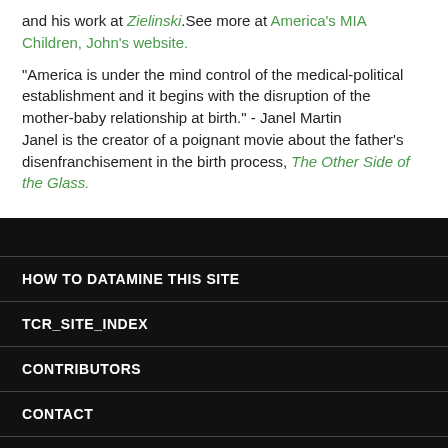and his work at Zielinski. See more at America's MIA Children, John's website.
"America is under the mind control of the medical-political establishment and it begins with the disruption of the mother-baby relationship at birth." - Janel Martin
Janel is the creator of a poignant movie about the father's disenfranchisement in the birth process, The Other Side of the Glass.
HOW TO DATAMINE THIS SITE
TCR_SITE_INDEX
CONTRIBUTORS
CONTACT
REFERENCES
PODCASTS